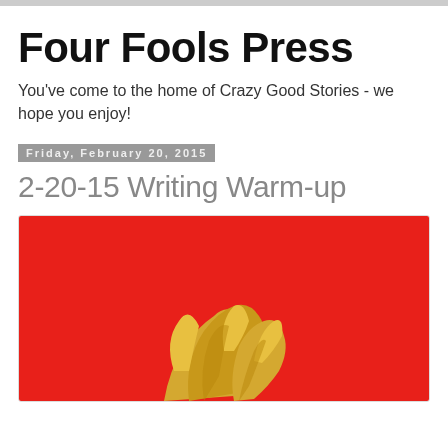Four Fools Press
You've come to the home of Crazy Good Stories - we hope you enjoy!
Friday, February 20, 2015
2-20-15 Writing Warm-up
[Figure (illustration): Red background illustration showing the top of a character's head with yellow/blonde spiky hair visible at the bottom center of the image]